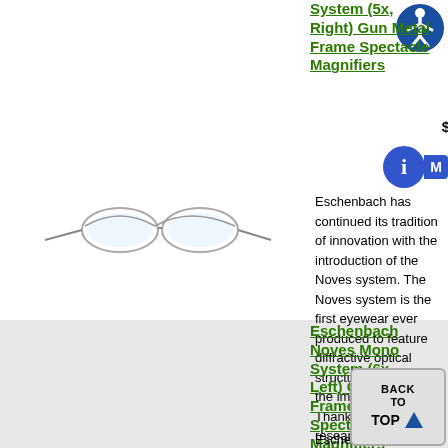System (5x, Right) Gun Metal Frame Spectacle Magnifiers
[Figure (photo): Eschenbach Noves spectacle magnifiers, gun metal frame, semi-rimless eyewear style]
Eschenbach has continued its tradition of innovation with the introduction of the Noves system. The Noves system is the first eyewear ever produced to feature diffractive optical structures to magnify the image for the user. Thanks to years of research and millions of dollars in investments,...
Eschenbach Noves Mono System (6x, Left) Gun Metal Frame Spectacle Magnifiers
Eschenbach continued its